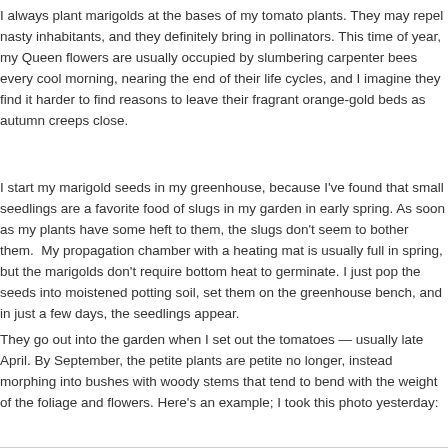I always plant marigolds at the bases of my tomato plants. They may repel nasty inhabitants, and they definitely bring in pollinators. This time of year, my Queen flowers are usually occupied by slumbering carpenter bees every cool morning, nearing the end of their life cycles, and I imagine they find it harder to find reasons to leave their fragrant orange-gold beds as autumn creeps close.
I start my marigold seeds in my greenhouse, because I've found that small seedlings are a favorite food of slugs in my garden in early spring. As soon as my plants have some heft to them, the slugs don't seem to bother them. My propagation chamber with a heating mat is usually full in spring, but the marigolds don't require bottom heat to germinate. I just pop the seeds into moistened potting soil, set them on the greenhouse bench, and in just a few days, the seedlings appear.
They go out into the garden when I set out the tomatoes — usually late April. By September, the petite plants are petite no longer, instead morphing into bushes with woody stems that tend to bend with the weight of the foliage and flowers. Here's an example; I took this photo yesterday: